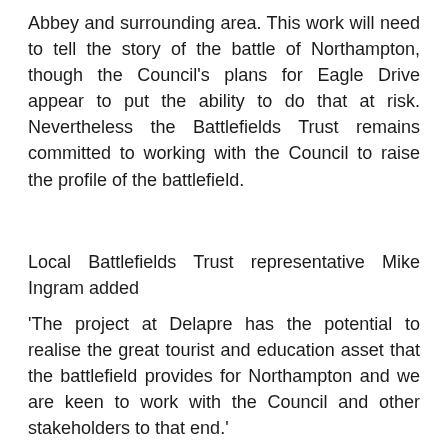Abbey and surrounding area. This work will need to tell the story of the battle of Northampton, though the Council's plans for Eagle Drive appear to put the ability to do that at risk. Nevertheless the Battlefields Trust remains committed to working with the Council to raise the profile of the battlefield.
Local Battlefields Trust representative Mike Ingram added
'The project at Delapre has the potential to realise the great tourist and education asset that the battlefield provides for Northampton and we are keen to work with the Council and other stakeholders to that end.'
For the Battlefields Trust Press release about Northampton please click here
For more information about the Battle of Northampton